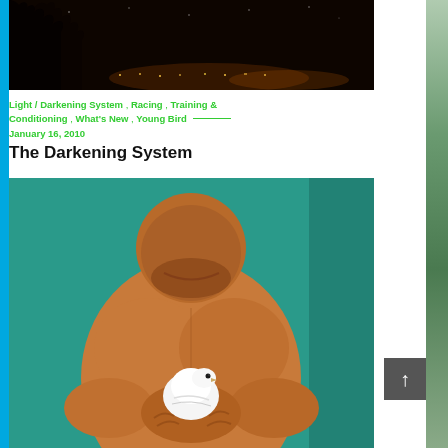[Figure (photo): Night sky photograph showing dark silhouette of trees against a dark brown/black sky with city lights visible on the horizon]
Light / Darkening System , Racing , Training & Conditioning , What's New , Young Bird       _______ January 16, 2010
The Darkening System
[Figure (photo): Close-up photo of a muscular man holding a small white bird (pigeon/dove) against his chest, with teal/green background]